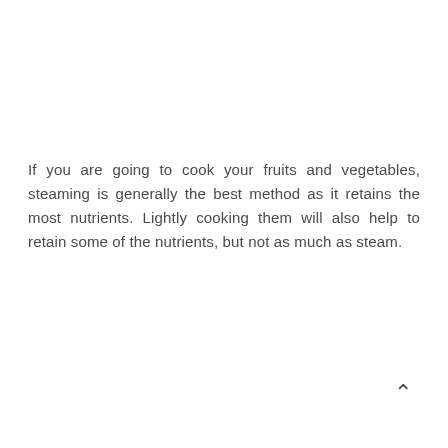If you are going to cook your fruits and vegetables, steaming is generally the best method as it retains the most nutrients. Lightly cooking them will also help to retain some of the nutrients, but not as much as steam.
[Figure (other): A upward-pointing caret/chevron icon (^) in the bottom-right corner, used as a scroll-to-top navigation button.]